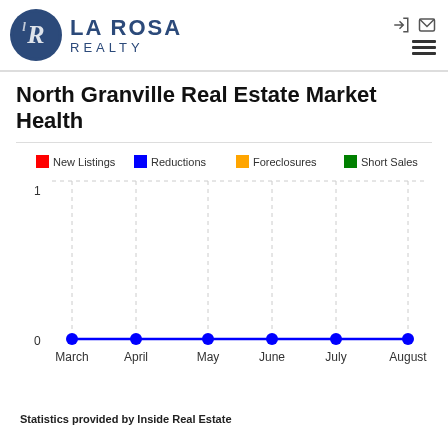[Figure (logo): La Rosa Realty logo with circular blue emblem and company name]
North Granville Real Estate Market Health
[Figure (line-chart): North Granville Real Estate Market Health]
Statistics provided by Inside Real Estate